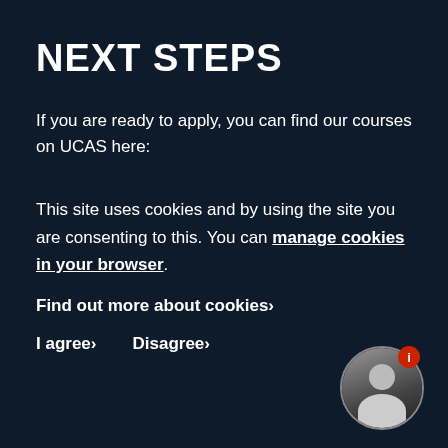NEXT STEPS
If you are ready to apply, you can find our courses on UCAS here:
This site uses cookies and by using the site you are consenting to this. You can manage cookies in your browser.
Find out more about cookies›
I agree›    Disagree›
[Figure (photo): Circular avatar portrait photo of a person, with a red info badge in the top-right corner]